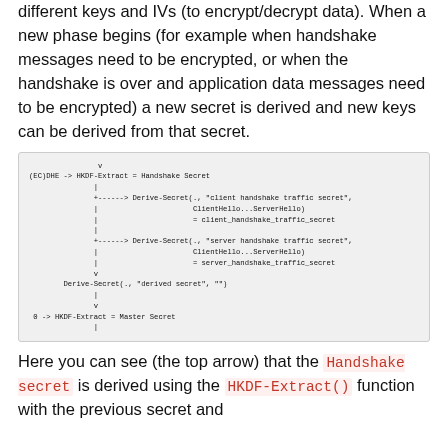different keys and IVs (to encrypt/decrypt data). When a new phase begins (for example when handshake messages need to be encrypted, or when the handshake is over and application data messages need to be encrypted) a new secret is derived and new keys can be derived from that secret.
[Figure (screenshot): ASCII diagram showing TLS 1.3 key schedule: (EC)DHE -> HKDF-Extract = Handshake Secret, with branches to Derive-Secret for client handshake traffic secret, server handshake traffic secret, and then Derive-Secret for derived secret, then 0 -> HKDF-Extract = Master Secret.]
Here you can see (the top arrow) that the Handshake secret is derived using the HKDF-Extract() function with the previous secret and the (EC)DHE shared secret as inputs.